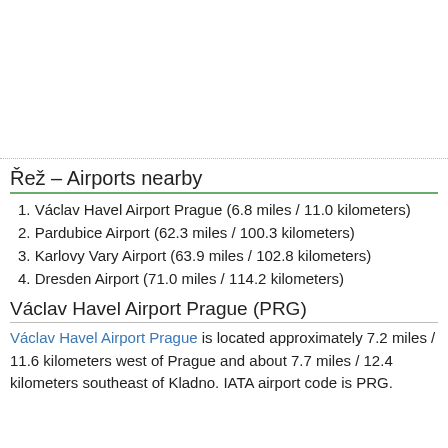Řež – Airports nearby
1. Václav Havel Airport Prague (6.8 miles / 11.0 kilometers)
2. Pardubice Airport (62.3 miles / 100.3 kilometers)
3. Karlovy Vary Airport (63.9 miles / 102.8 kilometers)
4. Dresden Airport (71.0 miles / 114.2 kilometers)
Václav Havel Airport Prague (PRG)
Václav Havel Airport Prague is located approximately 7.2 miles / 11.6 kilometers west of Prague and about 7.7 miles / 12.4 kilometers southeast of Kladno. IATA airport code is PRG.